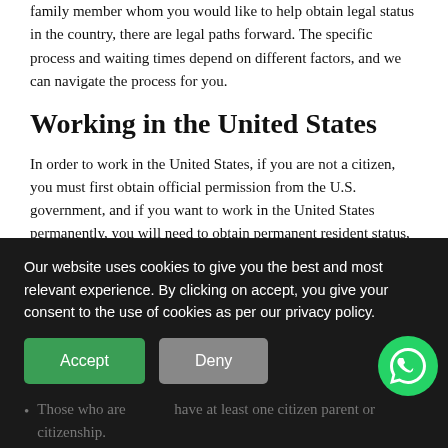family member whom you would like to help obtain legal status in the country, there are legal paths forward. The specific process and waiting times depend on different factors, and we can navigate the process for you.
Working in the United States
In order to work in the United States, if you are not a citizen, you must first obtain official permission from the U.S. government, and if you want to work in the United States permanently, you will need to obtain permanent resident status, which is usually referred to as having one's green card.
Becoming a Citizen of the United States
Our website uses cookies to give you the best and most relevant experience. By clicking on accept, you give your consent to the use of cookies as per our privacy policy.
Those who are … have at least one citizen parent or … citizenship.